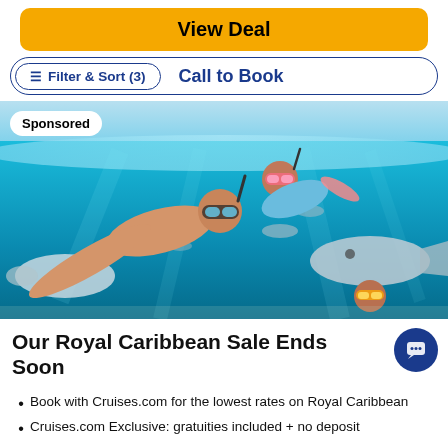View Deal
Filter & Sort (3)   Call to Book
[Figure (photo): Underwater snorkeling photo showing two people with goggles swimming with fish, with a 'Sponsored' badge overlay in top-left corner]
Our Royal Caribbean Sale Ends Soon
Book with Cruises.com for the lowest rates on Royal Caribbean
Cruises.com Exclusive: gratuities included + no deposit